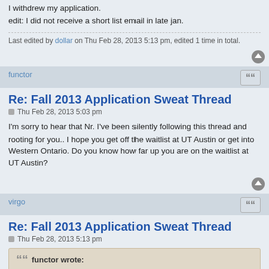I withdrew my application.
edit: I did not receive a short list email in late jan.
Last edited by dollar on Thu Feb 28, 2013 5:13 pm, edited 1 time in total.
functor
Re: Fall 2013 Application Sweat Thread
Thu Feb 28, 2013 5:03 pm
I'm sorry to hear that Nr. I've been silently following this thread and rooting for you.. I hope you get off the waitlist at UT Austin or get into Western Ontario. Do you know how far up you are on the waitlist at UT Austin?
virgo
Re: Fall 2013 Application Sweat Thread
Thu Feb 28, 2013 5:13 pm
functor wrote: